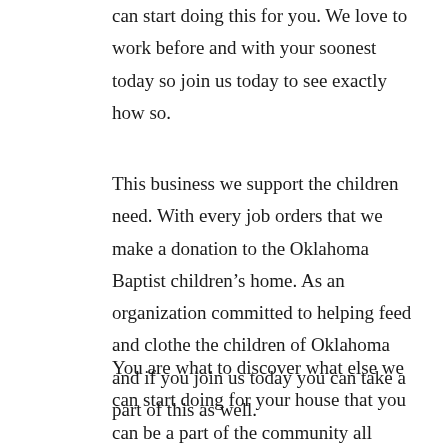can start doing this for you. We love to work before and with your soonest today so join us today to see exactly how so.
This business we support the children need. With every job orders that we make a donation to the Oklahoma Baptist children’s home. As an organization committed to helping feed and clothe the children of Oklahoma and if you join us today you can take a part of this as well.
You are what to discover what else we can start doing for your house that you can be a part of the community all while trying to get the perfect job for